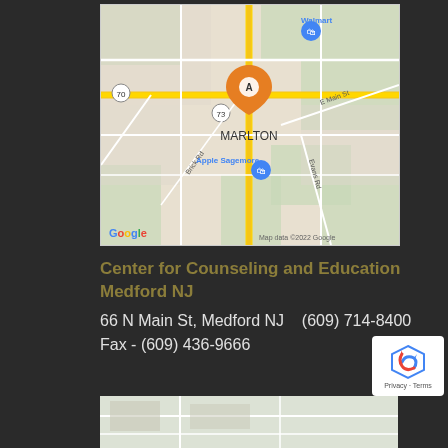[Figure (map): Google Map screenshot showing Marlton area with orange pin marker A, roads including route 70 and 73, Walmart and Apple Sagemore shopping center locations, with Google logo and Map data ©2022 Google attribution]
Center for Counseling and Education
Medford NJ
66 N Main St, Medford NJ   (609) 714-8400
Fax - (609) 436-9666
[Figure (map): Partial Google Map screenshot showing another location, partially visible at bottom of page]